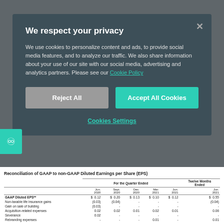We respect your privacy
We use cookies to personalize content and ads, to provide social media features, and to analyze our traffic. We also share information about your use of our site with our social media, advertising and analytics partners. Please see our Cookie Policy
Reject All
Accept All Cookies
Cookies Settings
Reconciliation of GAAP to non-GAAP Diluted Earnings per Share (EPS)
|  | Jun. 2020 | Sept. 2020 | Dec. 2020 | Mar. 2021 | Jun. 2021 | Jun. 2021 |
| --- | --- | --- | --- | --- | --- | --- |
| GAAP Diluted EPS** | $ 0.12 | $ 0.20 | $ 0.13 | $ 0.10 | $ 0.12 | $ 0.55 |
| Non-taxable life insurance gains | (0.03) | (0.04) | - | - | - | (0.04) |
| Gain on sale of building | (0.03) | - | - | - | - | - |
| Acquisition-related expenses | 0.02 | 0.02 | 0.01 | 0.02 | 0.01 | 0.06 |
| Severance | 0.02 | - | - | - | - | - |
| Rebranding expenses | - | - | - | 0.01 | - | 0.01 |